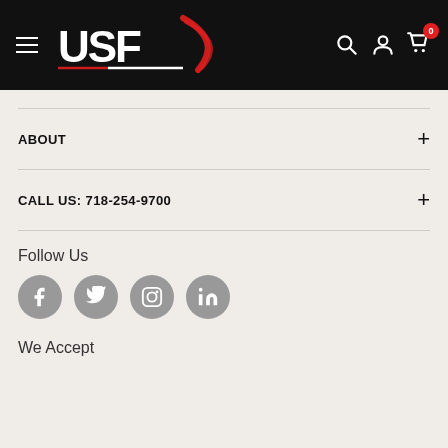[Figure (logo): USF logo with red arc and underline on black header background, with hamburger menu, search, account, and cart icons]
ABOUT
CALL US: 718-254-9700
Follow Us
[Figure (infographic): Four social media icons: Facebook, Twitter, Instagram, LinkedIn — grey circles with white icons]
We Accept